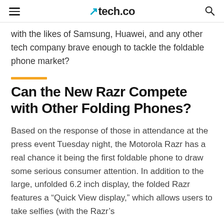tech.co
with the likes of Samsung, Huawei, and any other tech company brave enough to tackle the foldable phone market?
Can the New Razr Compete with Other Folding Phones?
Based on the response of those in attendance at the press event Tuesday night, the Motorola Razr has a real chance it being the first foldable phone to draw some serious consumer attention. In addition to the large, unfolded 6.2 inch display, the folded Razr features a “Quick View display,” which allows users to take selfies (with the Razr’s